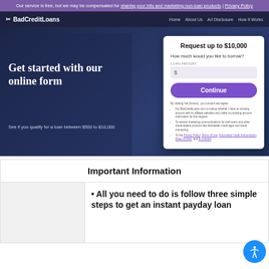Our service is free, but we may be compensated for sharing your info and marketing non-loan products | Privacy Policy
[Figure (screenshot): BadCreditLoans website screenshot showing navigation bar with logo and links: Home, About Us, Ad Disclosure, How It Works]
Get started with our online form
See if you qualify for a loan between $500 to $10,000
Request up to $10,000
How much would you like to borrow?
LOAN AMOUNT $
Continue
By clicking 'the (button)', you consent and agree:
• For BadCreditLoans.com to lookup whether I have an existing account with its affiliate websites and utilize my existing account information for this request.
• To receive marketing communications for both loans and other credit-related products like title/dealer credit apps and credit monitoring.
• To the Privacy Policy, Terms of Use, Automated Credit Authorization, Rates & Fees, and E-Consent.
Important Information
All you need to do is follow three simple steps to get an instant payday loan